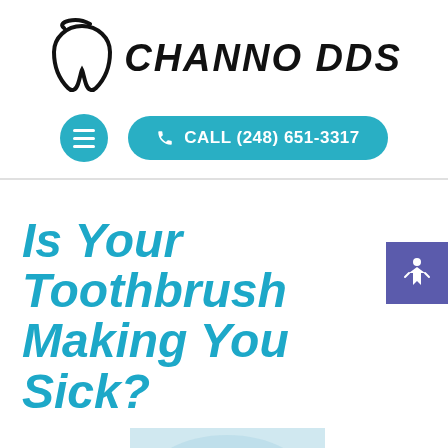[Figure (logo): Channo DDS dental clinic logo with tooth icon and stylized cursive text 'CHANNO DDS']
[Figure (screenshot): Navigation bar with circular teal hamburger menu button and teal pill-shaped call button reading 'CALL (248) 651-3317']
Is Your Toothbrush Making You Sick?
[Figure (photo): Close-up microscope image of bacteria, colorful with red rod-shaped bacteria and blue spherical cells on white background, partially visible at bottom of page]